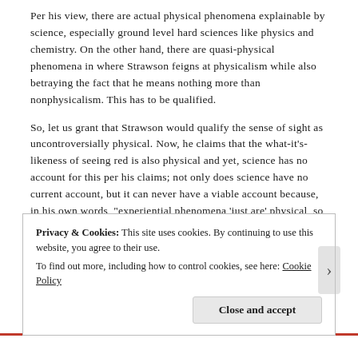Per his view, there are actual physical phenomena explainable by science, especially ground level hard sciences like physics and chemistry. On the other hand, there are quasi-physical phenomena in where Strawson feigns at physicalism while also betraying the fact that he means nothing more than nonphysicalism. This has to be qualified.
So, let us grant that Strawson would qualify the sense of sight as uncontroversially physical. Now, he claims that the what-it's-likeness of seeing red is also physical and yet, science has no account for this per his claims; not only does science have no current account, but it can never have a viable account because, in his own words, "experiential phenomena 'just are' physical, so that there is a lot more to neurons than physics and neurophysiology record (or can record)"
Privacy & Cookies: This site uses cookies. By continuing to use this website, you agree to their use.
To find out more, including how to control cookies, see here: Cookie Policy